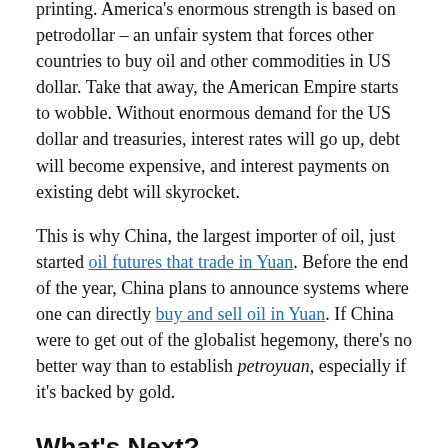printing. America's enormous strength is based on petrodollar – an unfair system that forces other countries to buy oil and other commodities in US dollar. Take that away, the American Empire starts to wobble. Without enormous demand for the US dollar and treasuries, interest rates will go up, debt will become expensive, and interest payments on existing debt will skyrocket.
This is why China, the largest importer of oil, just started oil futures that trade in Yuan. Before the end of the year, China plans to announce systems where one can directly buy and sell oil in Yuan. If China were to get out of the globalist hegemony, there's no better way than to establish petroyuan, especially if it's backed by gold.
What's Next?